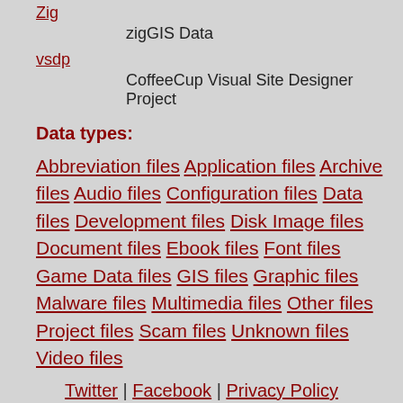Zig — zigGIS Data
vsdp — CoffeeCup Visual Site Designer Project
Data types:
Abbreviation files Application files Archive files Audio files Configuration files Data files Development files Disk Image files Document files Ebook files Font files Game Data files GIS files Graphic files Malware files Multimedia files Other files Project files Scam files Unknown files Video files
Twitter | Facebook | Privacy Policy